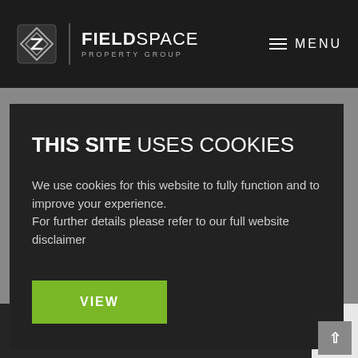[Figure (logo): FieldSpace Property Group logo with geometric diamond icon]
MENU
THIS SITE USES COOKIES
We use cookies for this website to fully function and to improve your experience.
For further details please refer to our full website disclaimer
VIEW